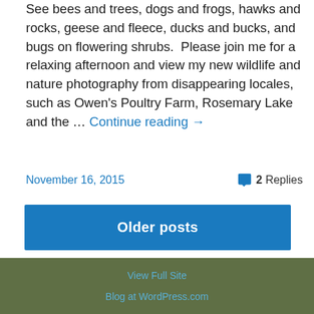See bees and trees, dogs and frogs, hawks and rocks, geese and fleece, ducks and bucks, and bugs on flowering shrubs.  Please join me for a relaxing afternoon and view my new wildlife and nature photography from disappearing locales, such as Owen's Poultry Farm, Rosemary Lake and the … Continue reading →
November 16, 2015   2 Replies
Older posts
View Full Site
Blog at WordPress.com